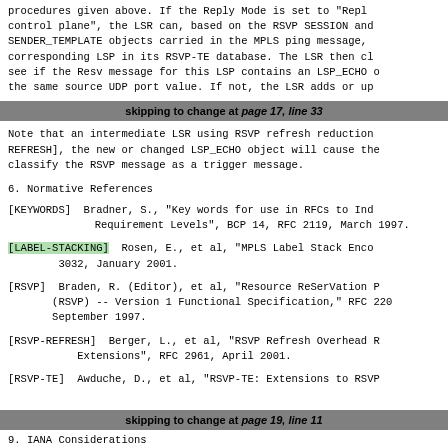procedures given above.  If the Reply Mode is set to "Repl control plane", the LSR can, based on the RSVP SESSION and SENDER_TEMPLATE objects carried in the MPLS ping message, corresponding LSP in its RSVP-TE database.  The LSR then c see if the Resv message for this LSP contains an LSP_ECHO the same source UDP port value.  If not, the LSR adds or u
skipping to change at page 17, line 33
Note that an intermediate LSR using RSVP refresh reduction REFRESH], the new or changed LSP_ECHO object will cause the classify the RSVP message as a trigger message.
6. Normative References
[KEYWORDS]  Bradner, S., "Key words for use in RFCs to Ind Requirement Levels", BCP 14, RFC 2119, March 1997.
[LABEL-STACKING]  Rosen, E., et al, "MPLS Label Stack Enco 3032, January 2001.
[RSVP]  Braden, R. (Editor), et al, "Resource ReSerVation (RSVP) -- Version 1 Functional Specification," RFC 220 September 1997.
[RSVP-REFRESH]  Berger, L., et al, "RSVP Refresh Overhead Extensions", RFC 2961, April 2001.
[RSVP-TE]  Awduche, D., et al, "RSVP-TE: Extensions to RSV
skipping to change at page 19, line 11
9.  IANA Considerations